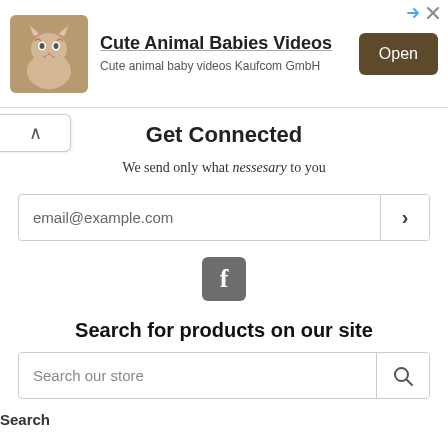[Figure (screenshot): Advertisement banner for 'Cute Animal Babies Videos' app by Kaufcom GmbH, with kitten photo, title, subtitle, and Open button]
Get Connected
We send only what nessesary to you
[Figure (screenshot): Email input field with placeholder 'email@example.com' and submit arrow button]
[Figure (logo): Facebook logo icon (grey square with white F)]
Search for products on our site
[Figure (screenshot): Search input field with placeholder 'Search our store' and search icon button]
Search